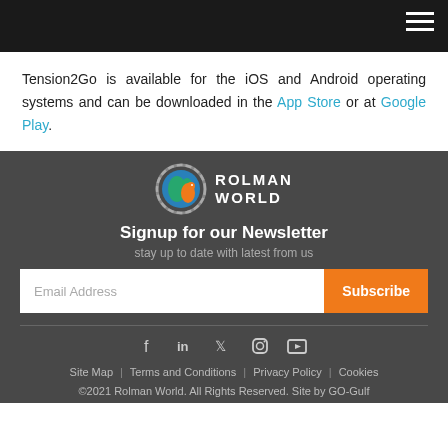[Navigation bar with hamburger menu]
Tension2Go is available for the iOS and Android operating systems and can be downloaded in the App Store or at Google Play.
[Figure (logo): Rolman World logo with globe icon and text ROLMAN WORLD]
Signup for our Newsletter
stay up to date with latest from us
Email Address [input field] Subscribe [button]
[Figure (infographic): Social media icons: Facebook, LinkedIn, Twitter, Instagram, YouTube]
Site Map | Terms and Conditions | Privacy Policy | Cookies
©2021 Rolman World. All Rights Reserved. Site by GO-Gulf